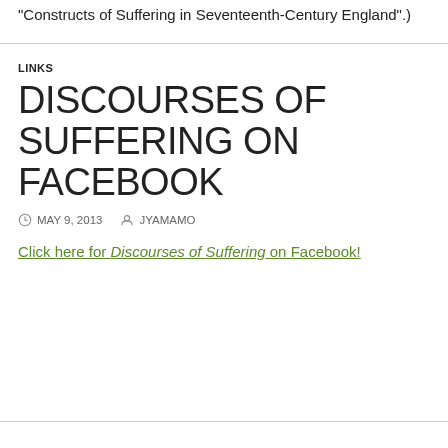“Constructs of Suffering in Seventeenth-Century England”.)
LINKS
DISCOURSES OF SUFFERING ON FACEBOOK
MAY 9, 2013   JYAMAMO
Click here for Discourses of Suffering on Facebook!